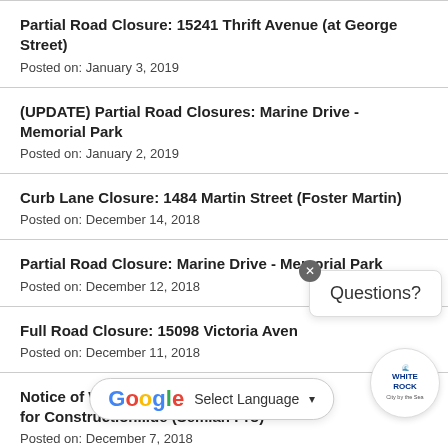Partial Road Closure: 15241 Thrift Avenue (at George Street)
Posted on: January 3, 2019
(UPDATE) Partial Road Closures: Marine Drive - Memorial Park
Posted on: January 2, 2019
Curb Lane Closure: 1484 Martin Street (Foster Martin)
Posted on: December 14, 2018
Partial Road Closure: Marine Drive - Memorial Park
Posted on: December 12, 2018
Full Road Closure: 15098 Victoria Avenue.
Posted on: December 11, 2018
Notice of Work - Noise Permit Extensions for Construction...ue (Semiah Pro)
Posted on: December 7, 2018